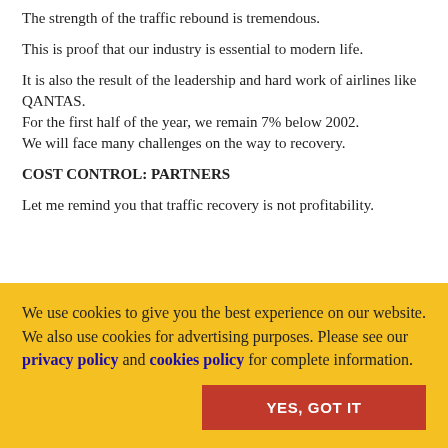The strength of the traffic rebound is tremendous.
This is proof that our industry is essential to modern life.
It is also the result of the leadership and hard work of airlines like QANTAS.
For the first half of the year, we remain 7% below 2002.
We will face many challenges on the way to recovery.
COST CONTROL: PARTNERS
Let me remind you that traffic recovery is not profitability.
We use cookies to give you the best experience on our website. We also use cookies for advertising purposes. Please see our privacy policy and cookies policy for complete information.